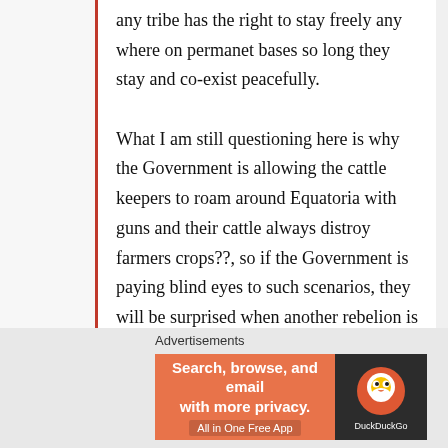any tribe has the right to stay freely any where on permanet bases so long they stay and co-exist peacefully.

What I am still questioning here is why the Government is allowing the cattle keepers to roam around Equatoria with guns and their cattle always distroy farmers crops??, so if the Government is paying blind eyes to such scenarios, they will be surprised when another rebelion is waged in Equatoria, please force this cattle keepers to go back to their homeland before is too late, Am a
Advertisements
[Figure (other): DuckDuckGo advertisement banner: orange background with text 'Search, browse, and email with more privacy. All in One Free App' and DuckDuckGo logo on dark background]